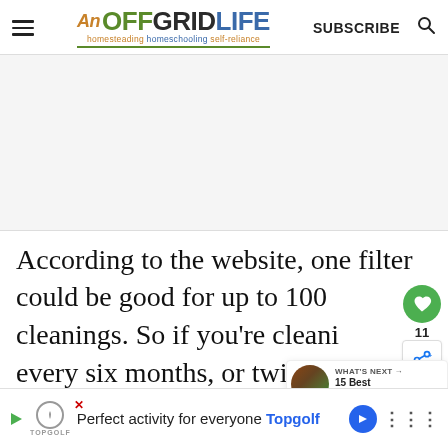An Off Grid Life — homesteading homeschooling self-reliance — SUBSCRIBE
[Figure (other): Advertisement/empty white-gray area]
According to the website, one filter could be good for up to 100 cleanings. So if you're cleaning every six months, or twice a year, it
Perfect activity for everyone Topgolf